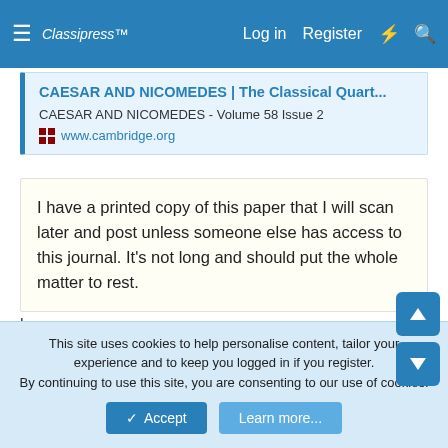≡  Classipress™  Log in  Register
[Figure (screenshot): Link preview card for 'CAESAR AND NICOMEDES | The Classical Quart...' from cambridge.org, showing Volume 58 Issue 2]
I have a printed copy of this paper that I will scan later and post unless someone else has access to this journal. It's not long and should put the whole matter to rest.
here you go
Attachments
[Figure (other): Attachment thumbnail placeholder (light blue rectangle)]
This site uses cookies to help personalise content, tailor your experience and to keep you logged in if you register. By continuing to use this site, you are consenting to our use of cookies.